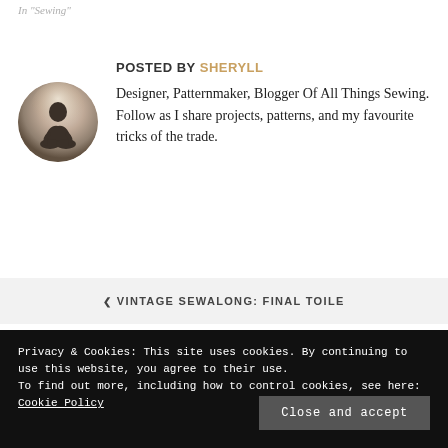In "Sewing"
POSTED BY SHERYLL
[Figure (photo): Circular avatar photo of a person sitting cross-legged in a meditative pose, silhouetted against a soft light background]
Designer, Patternmaker, Blogger Of All Things Sewing. Follow as I share projects, patterns, and my favourite tricks of the trade.
❮ VINTAGE SEWALONG: FINAL TOILE
Privacy & Cookies: This site uses cookies. By continuing to use this website, you agree to their use.
To find out more, including how to control cookies, see here: Cookie Policy
Close and accept